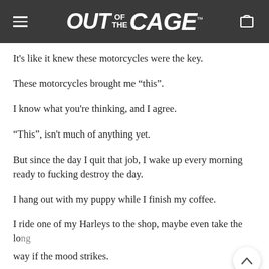OUT OF THE CAGE
It’s like it knew these motorcycles were the key.
These motorcycles brought me “this”.
I know what you’re thinking, and I agree.
“This”, isn’t much of anything yet.
But since the day I quit that job, I wake up every morning ready to fucking destroy the day.
I hang out with my puppy while I finish my coffee.
I ride one of my Harleys to the shop, maybe even take the long way if the mood strikes.